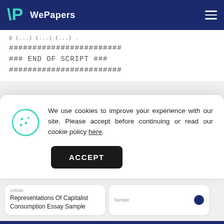WePapers
########################
### END OF SCRIPT ###
########################
We use cookies to improve your experience with our site. Please accept before continuing or read our cookie policy here.
ACCEPT
Artistic Representations Of Capitalist Consumption Essay Sample
Sample